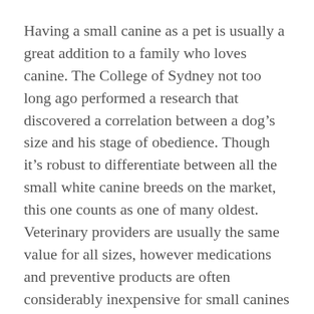Having a small canine as a pet is usually a great addition to a family who loves canine. The College of Sydney not too long ago performed a research that discovered a correlation between a dog's size and his stage of obedience. Though it's robust to differentiate between all the small white canine breeds on the market, this one counts as one of many oldest. Veterinary providers are usually the same value for all sizes, however medications and preventive products are often considerably inexpensive for small canines than for big canines.
Usually enjoyable loving and mischievous, the Miniature Bull Terrier is sometimes known as the child in the dog suit.” While he’s smaller than the larger Bull Terrier, he usually has simply as much